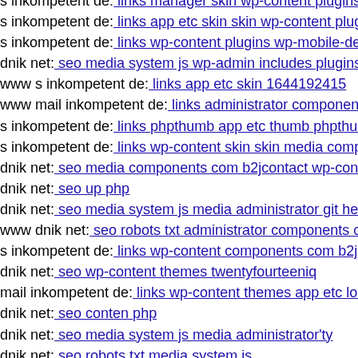s inkompetent de: links manager skin wp-content plugins
s inkompetent de: links app etc skin skin wp-content plugin
s inkompetent de: links wp-content plugins wp-mobile-det
dnik net: seo media system js wp-admin includes plugins c
www s inkompetent de: links app etc skin 1644192415
www mail inkompetent de: links administrator component
s inkompetent de: links phpthumb app etc thumb phpthum
s inkompetent de: links wp-content skin skin media compo
dnik net: seo media components com b2jcontact wp-conten
dnik net: seo up php
dnik net: seo media system js media administrator git head
www dnik net: seo robots txt administrator components co
s inkompetent de: links wp-content components com b2jco
dnik net: seo wp-content themes twentyfourteeniq
mail inkompetent de: links wp-content themes app etc loca
dnik net: seo conten php
dnik net: seo media system js media administrator'ty
dnik net: seo robots txt media system js
dnik net: seo media system js media skin
s inkompetent de: links wp-content plugins coffeebreak inc
s inkompetent de: links wp-json wp v2 wp-admin s inkom